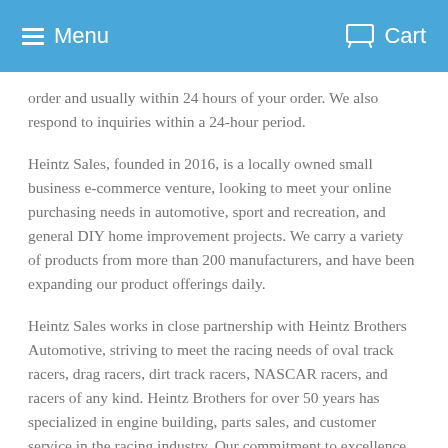Menu   Cart
order and usually within 24 hours of your order. We also respond to inquiries within a 24-hour period.
Heintz Sales, founded in 2016, is a locally owned small business e-commerce venture, looking to meet your online purchasing needs in automotive, sport and recreation, and general DIY home improvement projects. We carry a variety of products from more than 200 manufacturers, and have been expanding our product offerings daily.
Heintz Sales works in close partnership with Heintz Brothers Automotive, striving to meet the racing needs of oval track racers, drag racers, dirt track racers, NASCAR racers, and racers of any kind. Heintz Brothers for over 50 years has specialized in engine building, parts sales, and customer service in the racing industry. Our commitment to excellence and the business is shown by the induction of the Heintz Brothers, Steve and Mike, into